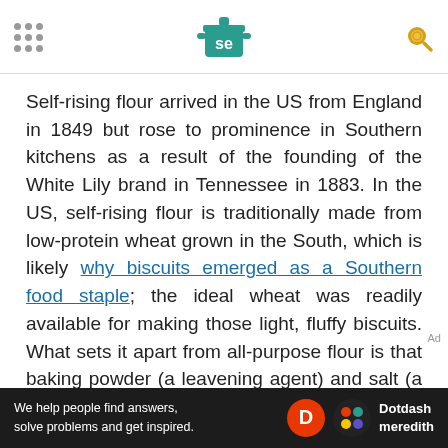Serious Eats header with logo and navigation
Self-rising flour arrived in the US from England in 1849 but rose to prominence in Southern kitchens as a result of the founding of the White Lily brand in Tennessee in 1883. In the US, self-rising flour is traditionally made from low-protein wheat grown in the South, which is likely why biscuits emerged as a Southern food staple; the ideal wheat was readily available for making those light, fluffy biscuits. What sets it apart from all-purpose flour is that baking powder (a leavening agent) and salt (a gluten strengthener) are pre-mixed in. Be aware that this flour has a shorter shelf life—the baking powder
We help people find answers, solve problems and get inspired. Dotdash meredith